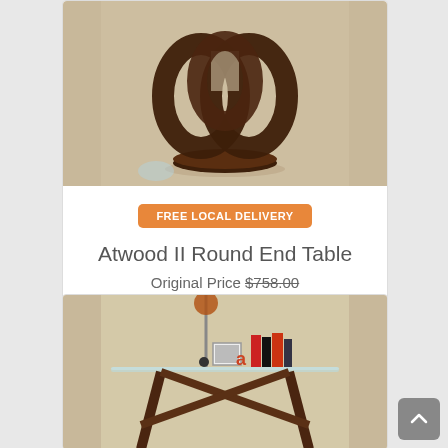[Figure (photo): Photo of Atwood II Round End Table – a dark walnut abstract knot-shaped sculpture on a round base, on a light wood surface]
FREE LOCAL DELIVERY
Atwood II Round End Table
Original Price $758.00
$531.00
(save 30%)
[Figure (photo): Photo of a glass-top end table with dark curved legs; top shelf holds books, a photo frame, and decorative items]